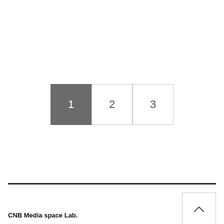[Figure (other): Pagination widget with three numbered buttons. Button 1 is active (dark gray background, white text), buttons 2 and 3 are inactive (white background, gray text).]
CNB Media space Lab.